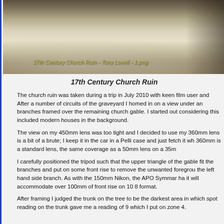[Figure (photo): Infrared or sepia-toned photograph of a 17th Century Church Ruin with foliage and tree branches in foreground, with watermark text '17th Century Church Ruin - Tony Lovell - 1.png']
17th Century Church Ruin - Tony Lovell - 1.png
17th Century Church Ruin
The church ruin was taken during a trip in July 2010 with keen film user and After a number of circuits of the graveyard I homed in on a view under an branches framed over the remaining church gable. I started out considering this included modern houses in the background.
The view on my 450mm lens was too tight and I decided to use my 360mm lens is a bit of a brute; I keep it in the car in a Pelli case and just fetch it wh 360mm is a standard lens, the same coverage as a 50mm lens on a 35m
I carefully positioned the tripod such that the upper triangle of the gable fit the branches and put on some front rise to remove the unwanted foregrou the left hand side branch. As with the 150mm Nikon, the APO Symmar ha it will accommodate over 100mm of front rise on 10 8 format.
After framing I judged the trunk on the tree to be the darkest area in which spot reading on the trunk gave me a reading of 9 which I put on zone 4.